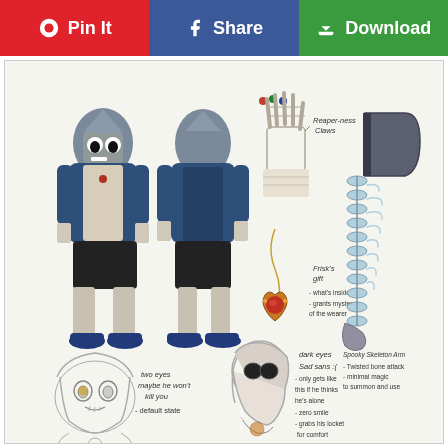Pin It | Share | Download
[Figure (illustration): Character reference sheet for a skeleton character (Undertale fan art style) wearing a blue hoodie, dark shorts, and blue sneakers shown from front and back views. Additional detail sketches include: a skeletal hand/claw labeled 'Reaper-ness Claws', a gold heart locket necklace labeled 'Frisk's Gift' with notes '- what's inside? - grants mystery of the wearer', a spinal column weapon labeled 'Spooky Skeleton Arm' with notes '- Twisted bone attack - minimal magic to summon and use', a face sketch labeled 'two eyes maybe he won't kill you - default state', and a hooded figure sketch labeled 'dark eyes / Sad sans :( / - only gets like this if he thinks he's alone / - zero smile / - grabs his locket for comfort']